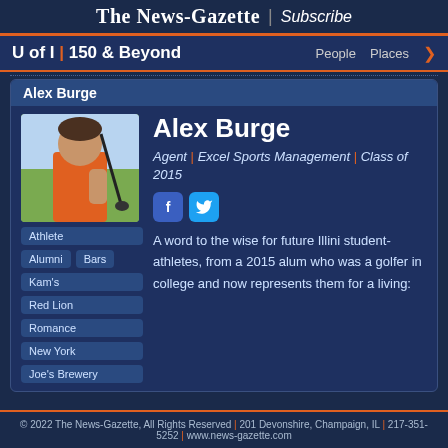The News-Gazette | Subscribe
U of I | 150 & Beyond   People   Places
Alex Burge
Alex Burge
Agent | Excel Sports Management | Class of 2015
[Figure (photo): Alex Burge profile photo - man in orange shirt holding golf club outdoors]
Athlete
Alumni
Bars
Kam's
Red Lion
Romance
New York
Joe's Brewery
A word to the wise for future Illini student-athletes, from a 2015 alum who was a golfer in college and now represents them for a living:
© 2022 The News-Gazette, All Rights Reserved | 201 Devonshire, Champaign, IL | 217-351-5252 | www.news-gazette.com